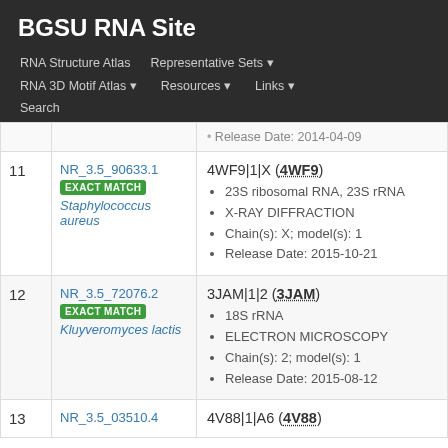BGSU RNA Site
RNA Structure Atlas | Representative Sets ▾ | RNA 3D Motif Atlas ▾ | Resources ▾ | Links ▾ | Search
| # | ID | Details |
| --- | --- | --- |
|  |  | Release Date: 2014-04-09 |
| 11 | NR_3.5_90633.1 EXACT MATCH Staphylococcus aureus | 4WF9|1|X (4WF9)
• 23S ribosomal RNA, 23S rRNA
• X-RAY DIFFRACTION
• Chain(s): X; model(s): 1
• Release Date: 2015-10-21 |
| 12 | NR_3.5_72076.2 EXACT MATCH Kluyveromyces lactis | 3JAM|1|2 (3JAM)
• 18S rRNA
• ELECTRON MICROSCOPY
• Chain(s): 2; model(s): 1
• Release Date: 2015-08-12 |
| 13 | NR_3.5_03510.4 | 4V88|1|A6 (4V88) |